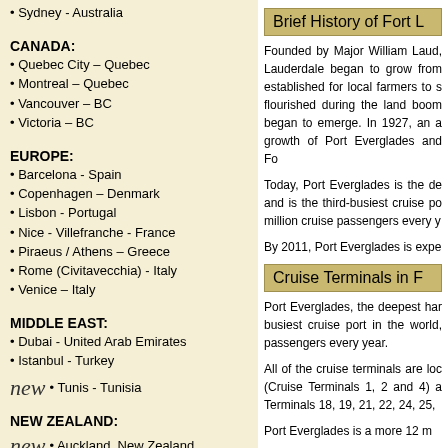• Sydney - Australia
CANADA:
• Quebec City – Quebec
• Montreal – Quebec
• Vancouver – BC
• Victoria – BC
EUROPE:
• Barcelona - Spain
• Copenhagen – Denmark
• Lisbon - Portugal
• Nice - Villefranche - France
• Piraeus / Athens – Greece
• Rome (Civitavecchia) - Italy
• Venice – Italy
MIDDLE EAST:
• Dubai - United Arab Emirates
• Istanbul - Turkey
new  • Tunis - Tunisia
NEW ZEALAND:
new  • Auckland, New Zealand
Brief History of Fort L
Founded by Major William Laud, Lauderdale began to grow from established for local farmers to s flourished during the land boom began to emerge. In 1927, an a growth of Port Everglades and Fo
Today, Port Everglades is the de and is the third-busiest cruise po million cruise passengers every y
By 2011, Port Everglades is expe
Cruise Terminals in F
Port Everglades, the deepest har busiest cruise port in the world, passengers every year.
All of the cruise terminals are loc (Cruise Terminals 1, 2 and 4) a Terminals 18, 19, 21, 22, 24, 25,
Port Everglades is a more 12 m